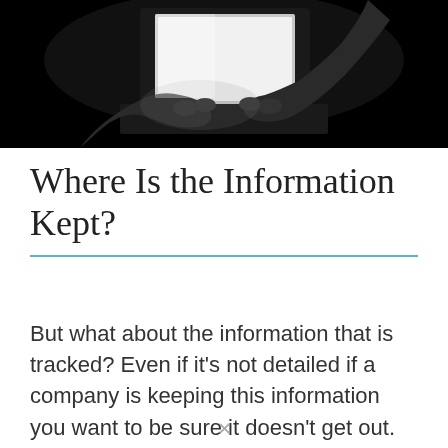[Figure (photo): Black and white photograph of a person's hands typing on a laptop keyboard in a dark setting, with bright screen light illuminating the hands from above.]
Where Is the Information Kept?
But what about the information that is tracked? Even if it's not detailed if a company is keeping this information you want to be sure it doesn't get out.